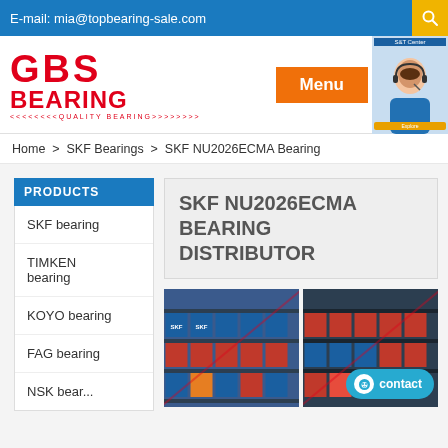E-mail: mia@topbearing-sale.com
[Figure (logo): GBS Bearing logo with red text and quality bearing tagline]
Menu
Home > SKF Bearings > SKF NU2026ECMA Bearing
PRODUCTS
SKF bearing
TIMKEN bearing
KOYO bearing
FAG bearing
SKF NU2026ECMA BEARING DISTRIBUTOR
[Figure (photo): Warehouse shelves with SKF bearing boxes]
[Figure (photo): Warehouse shelves with bearing product boxes and contact button overlay]